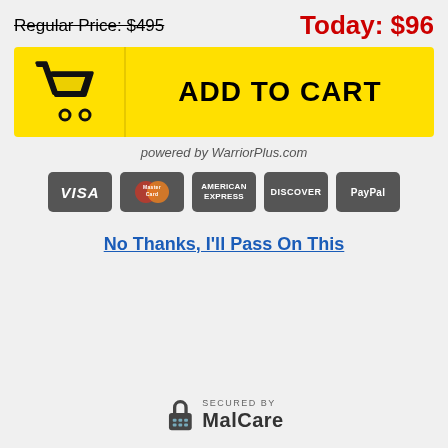Regular Price: $495   Today: $96
[Figure (infographic): Yellow ADD TO CART button with shopping cart icon on the left]
powered by WarriorPlus.com
[Figure (infographic): Payment method icons: VISA, MasterCard, American Express, Discover, PayPal]
No Thanks, I'll Pass On This
[Figure (logo): SECURED by MalCare security badge]